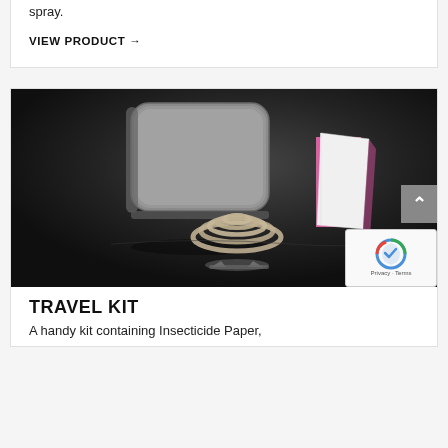spray.
VIEW PRODUCT →
[Figure (photo): Product photo on dark background showing a metal tin container, a coiled mosquito repellent coil on a stand, and a pink and white folded paper insert/label against a dark charcoal background.]
TRAVEL KIT
A handy kit containing Insecticide Paper,